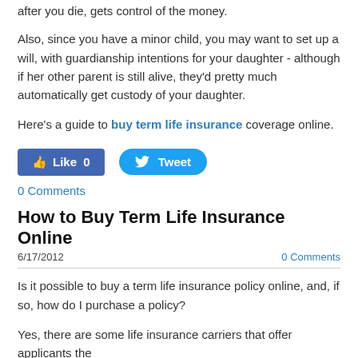if you leave the money to her, who ever gets custody of your daughter after you die, gets control of the money.
Also, since you have a minor child, you may want to set up a will, with guardianship intentions for your daughter - although if her other parent is still alive, they'd pretty much automatically get custody of your daughter.
Here's a guide to buy term life insurance coverage online.
[Figure (other): Social sharing buttons: Facebook Like (0) and Twitter Tweet]
0 Comments
How to Buy Term Life Insurance Online
6/17/2012   0 Comments
Is it possible to buy a term life insurance policy online, and, if so, how do I purchase a policy?
Yes, there are some life insurance carriers that offer applicants the